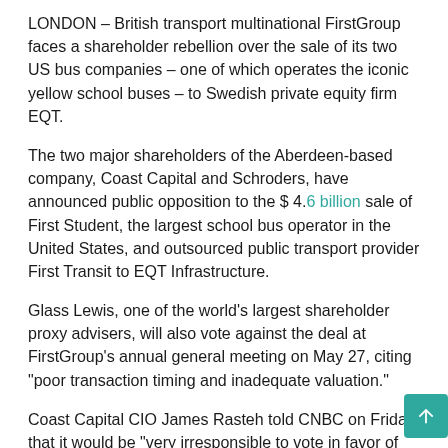LONDON – British transport multinational FirstGroup faces a shareholder rebellion over the sale of its two US bus companies – one of which operates the iconic yellow school buses – to Swedish private equity firm EQT.
The two major shareholders of the Aberdeen-based company, Coast Capital and Schroders, have announced public opposition to the $ 4.6 billion sale of First Student, the largest school bus operator in the United States, and outsourced public transport provider First Transit to EQT Infrastructure.
Glass Lewis, one of the world's largest shareholder proxy advisers, will also vote against the deal at FirstGroup's annual general meeting on May 27, citing "poor transaction timing and inadequate valuation."
Coast Capital CIO James Rasteh told CNBC on Friday that it would be "very irresponsible to vote in favor of this transaction", which he said represents "a net destruction of value".